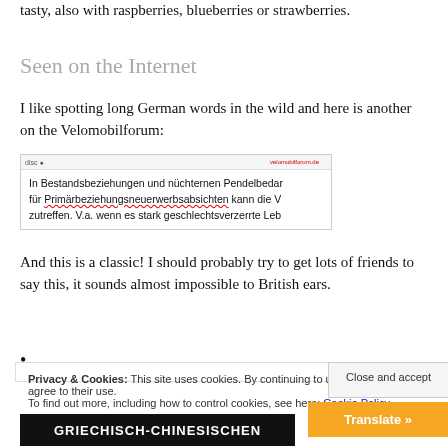tasty, also with raspberries, blueberries or strawberries.
Seen on the Internet
I like spotting long German words in the wild and here is another on the Velomobilforum:
[Figure (screenshot): Screenshot of a forum post showing German text including the word 'Primärbeziehungsneuerwerbsabsichten' with a red wavy underline. Text reads: In Bestandsbeziehungen und nüchternen Pendelbedar für Primärbeziehungsneuerwerbsabsichten kann die V zutreffen. V.a. wenn es stark geschlechtsverzerrte Leb]
And this is a classic! I should probably try to get lots of friends to say this, it sounds almost impossible to British ears.
•
Privacy & Cookies: This site uses cookies. By continuing to use this website, you agree to their use.
To find out more, including how to control cookies, see here: Cookie Policy
Close and accept
Translate »
[Figure (photo): Bottom banner image with text 'GRIECHISCH-CHINESISCHEN' in white bold letters on dark background]